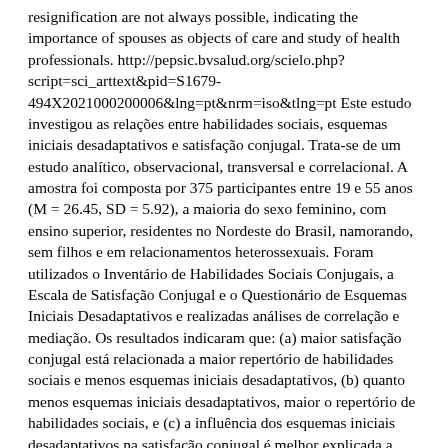resignification are not always possible, indicating the importance of spouses as objects of care and study of health professionals. http://pepsic.bvsalud.org/scielo.php?script=sci_arttext&pid=S1679-494X2021000200006&lng=pt&nrm=iso&tlng=pt Este estudo investigou as relações entre habilidades sociais, esquemas iniciais desadaptativos e satisfação conjugal. Trata-se de um estudo analítico, observacional, transversal e correlacional. A amostra foi composta por 375 participantes entre 19 e 55 anos (M = 26.45, SD = 5.92), a maioria do sexo feminino, com ensino superior, residentes no Nordeste do Brasil, namorando, sem filhos e em relacionamentos heterossexuais. Foram utilizados o Inventário de Habilidades Sociais Conjugais, a Escala de Satisfação Conjugal e o Questionário de Esquemas Iniciais Desadaptativos e realizadas análises de correlação e mediação. Os resultados indicaram que: (a) maior satisfação conjugal está relacionada a maior repertório de habilidades sociais e menos esquemas iniciais desadaptativos, (b) quanto menos esquemas iniciais desadaptativos, maior o repertório de habilidades sociais, e (c) a influência dos esquemas iniciais desadaptativos na satisfação conjugal é melhor explicada a partir da mediação das habilidades sociais. Conclui-se que o repertório de habilidades sociais tem papel central no estabelecimento de relações conjugais satisfatórias.<hr/>This study investigated the relationships between social skills, early maladaptive schemas, and marital satisfaction. This is an analytical, observational, cross-